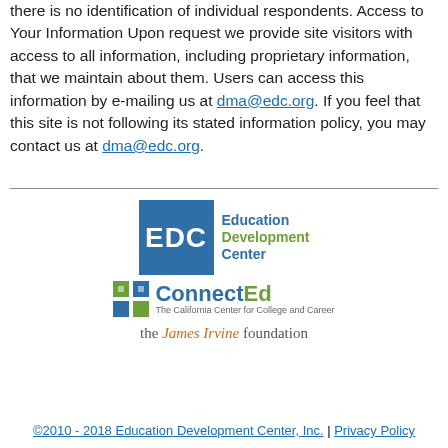there is no identification of individual respondents. Access to Your Information Upon request we provide site visitors with access to all information, including proprietary information, that we maintain about them. Users can access this information by e-mailing us at dma@edc.org. If you feel that this site is not following its stated information policy, you may contact us at dma@edc.org.
[Figure (logo): EDC Education Development Center logo with blue square containing 'EDC' in white text and text 'Education Development Center' to the right]
[Figure (logo): ConnectEd: The California Center for College and Career logo with colorful squares icon]
[Figure (logo): the James Irvine foundation logo in serif font with orange 'James Irvine']
©2010 - 2018 Education Development Center, Inc. | Privacy Policy